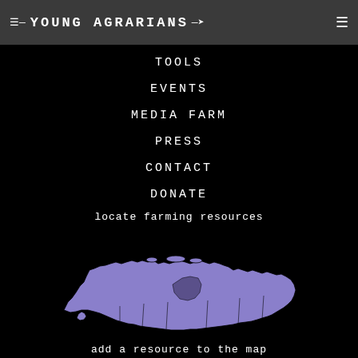≡ YOUNG AGRARIANS →
TOOLS
EVENTS
MEDIA FARM
PRESS
CONTACT
DONATE
locate farming resources
[Figure (map): Purple illustrated map of Canada]
add a resource to the map